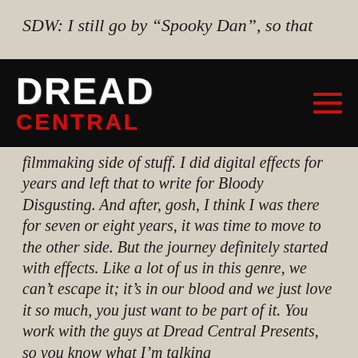SDW: I still go by “Spooky Dan”, so that
[Figure (logo): Dread Central logo on black navigation bar with hamburger menu icon]
filmmaking side of stuff. I did digital effects for years and left that to write for Bloody Disgusting. And after, gosh, I think I was there for seven or eight years, it was time to move to the other side. But the journey definitely started with effects. Like a lot of us in this genre, we can’t escape it; it’s in our blood and we just love it so much, you just want to be part of it. You work with the guys at Dread Central Presents, so you know what I’m talking